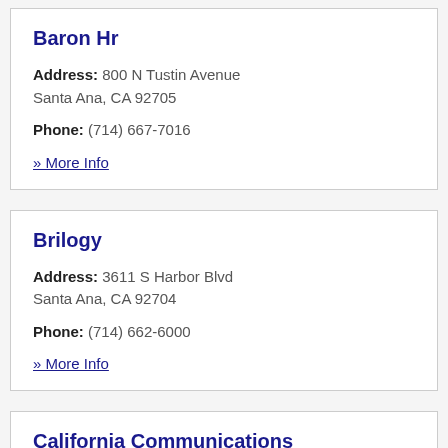Baron Hr
Address: 800 N Tustin Avenue Santa Ana, CA 92705
Phone: (714) 667-7016
» More Info
Brilogy
Address: 3611 S Harbor Blvd Santa Ana, CA 92704
Phone: (714) 662-6000
» More Info
California Communications